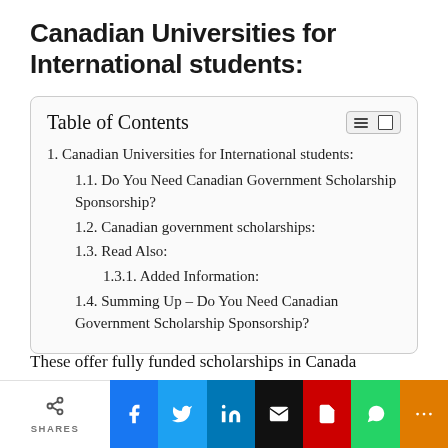Canadian Universities for International students:
| Table of Contents |
| 1. Canadian Universities for International students: |
| 1.1. Do You Need Canadian Government Scholarship Sponsorship? |
| 1.2. Canadian government scholarships: |
| 1.3. Read Also: |
| 1.3.1. Added Information: |
| 1.4. Summing Up – Do You Need Canadian Government Scholarship Sponsorship? |
These offer fully funded scholarships in Canada